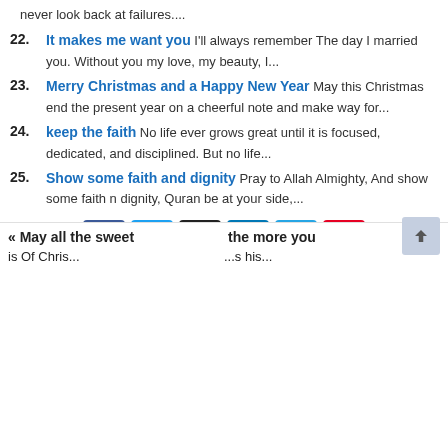never look back at failures....
22. It makes me want you I'll always remember The day I married you. Without you my love, my beauty, I...
23. Merry Christmas and a Happy New Year May this Christmas end the present year on a cheerful note and make way for...
24. keep the faith No life ever grows great until it is focused, dedicated, and disciplined. But no life...
25. Show some faith and dignity Pray to Allah Almighty, And show some faith n dignity, Quran be at your side,...
[Figure (other): Social share buttons: Facebook, Twitter, Email, LinkedIn, Telegram, Pinterest]
« May all the sweet    the more you
is Of Chris...         ...s his...